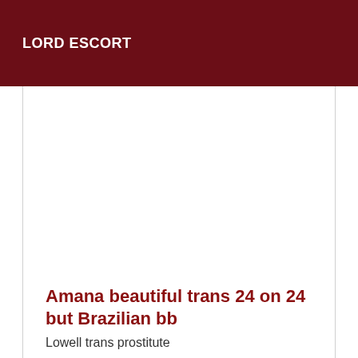LORD ESCORT
Amana beautiful trans 24 on 24 but Brazilian bb
Lowell trans prostitute